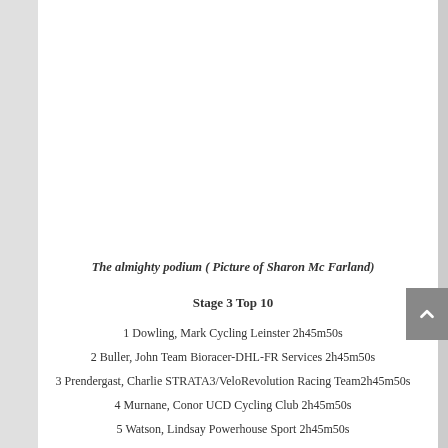The almighty podium ( Picture of Sharon Mc Farland)
Stage 3 Top 10
1 Dowling, Mark Cycling Leinster 2h45m50s
2 Buller, John Team Bioracer-DHL-FR Services 2h45m50s
3 Prendergast, Charlie STRATA3/VeloRevolution Racing Team2h45m50s
4 Murnane, Conor UCD Cycling Club 2h45m50s
5 Watson, Lindsay Powerhouse Sport 2h45m50s